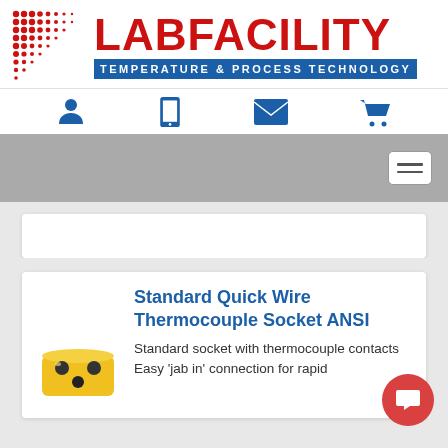[Figure (logo): Labfacility logo with red dot grid pattern on left, red LABFACILITY text, and blue TEMPERATURE & PROCESS TECHNOLOGY banner]
[Figure (infographic): Navigation icon bar with blue person, tablet, envelope, and shopping cart icons]
[Figure (infographic): Grey navigation bar with hamburger menu button on right]
Standard Quick Wire Thermocouple Socket ANSI
Standard socket with thermocouple contacts Easy 'jab in' connection for rapid